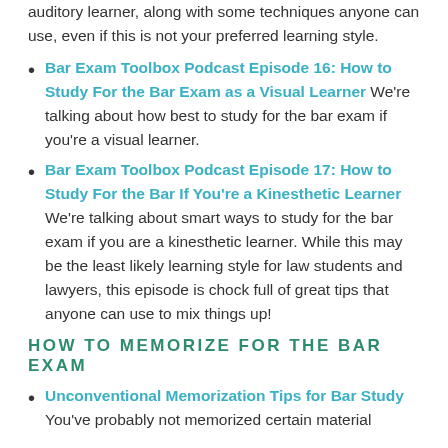auditory learner, along with some techniques anyone can use, even if this is not your preferred learning style.
Bar Exam Toolbox Podcast Episode 16: How to Study For the Bar Exam as a Visual Learner We're talking about how best to study for the bar exam if you're a visual learner.
Bar Exam Toolbox Podcast Episode 17: How to Study For the Bar If You're a Kinesthetic Learner We're talking about smart ways to study for the bar exam if you are a kinesthetic learner. While this may be the least likely learning style for law students and lawyers, this episode is chock full of great tips that anyone can use to mix things up!
HOW TO MEMORIZE FOR THE BAR EXAM
Unconventional Memorization Tips for Bar Study You've probably not memorized certain material